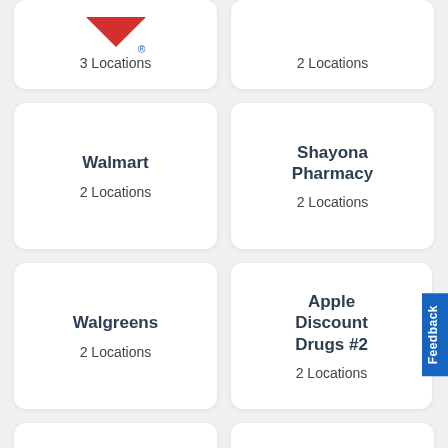[Figure (logo): Partial pharmacy logo (red chevron/arrow shape with registered trademark symbol) — top of page, left card]
3 Locations
2 Locations
Walmart
2 Locations
Shayona Pharmacy
2 Locations
Walgreens
2 Locations
Apple Discount Drugs #2
2 Locations
Riverside
Karemore